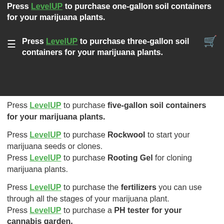Press LevelUP to purchase one-gallon soil containers for your marijuana plants.
Press LevelUP to purchase three-gallon soil containers for your marijuana plants.
Press LevelUP to purchase five-gallon soil containers for your marijuana plants.
Press LevelUP to purchase Rockwool to start your marijuana seeds or clones.
Press LevelUP to purchase Rooting Gel for cloning marijuana plants.
Press LevelUP to purchase the fertilizers you can use through all the stages of your marijuana plant.
Press LevelUP to purchase a PH tester for your cannabis garden.
Press LevelUP to purchase PH Balancer solution.
Cannabis Garden Harvest